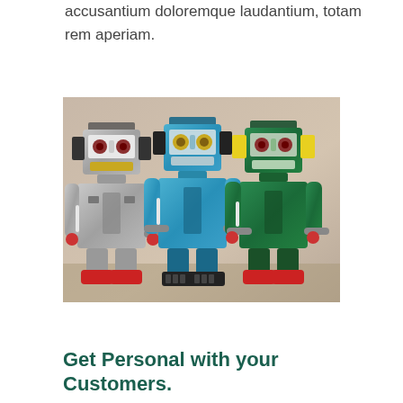accusantium doloremque laudantium, totam rem aperiam.
[Figure (photo): Three vintage tin toy robots standing side by side: a silver robot on the left, a blue robot in the center, and a green robot on the right. Each robot has a boxy body, mechanical arms, glowing eyes, and red feet.]
Get Personal with your Customers.